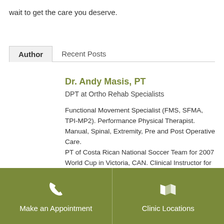wait to get the care you deserve.
Author   Recent Posts
Dr. Andy Masis, PT
DPT at Ortho Rehab Specialists
Functional Movement Specialist (FMS, SFMA, TPI-MP2). Performance Physical Therapist. Manual, Spinal, Extremity, Pre and Post Operative Care. PT of Costa Rican National Soccer Team for 2007 World Cup in Victoria, CAN. Clinical Instructor for University of Minnesota Doctor of Physical Therapy Affiliations
Make an Appointment   Clinic Locations